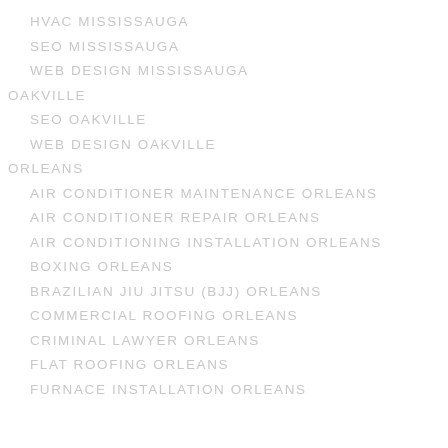HVAC MISSISSAUGA
SEO MISSISSAUGA
WEB DESIGN MISSISSAUGA
OAKVILLE
SEO OAKVILLE
WEB DESIGN OAKVILLE
ORLEANS
AIR CONDITIONER MAINTENANCE ORLEANS
AIR CONDITIONER REPAIR ORLEANS
AIR CONDITIONING INSTALLATION ORLEANS
BOXING ORLEANS
BRAZILIAN JIU JITSU (BJJ) ORLEANS
COMMERCIAL ROOFING ORLEANS
CRIMINAL LAWYER ORLEANS
FLAT ROOFING ORLEANS
FURNACE INSTALLATION ORLEANS